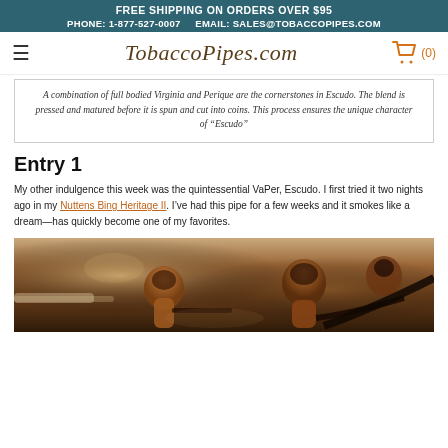FREE SHIPPING ON ORDERS OVER $95
PHONE: 1-877-527-0007   EMAIL: SALES@TOBACCOPIPES.COM
TobaccoPipes.com (0)
A combination of full bodied Virginia and Perique are the cornerstones in Escudo. The blend is pressed and matured before it is spun and cut into coins. This process ensures the unique character of “Escudo”
Entry 1
My other indulgence this week was the quintessential VaPer, Escudo. I first tried it two nights ago in my Nuttens Bing Heritage II. I’ve had this pipe for a few weeks and it smokes like a dream—has quickly become one of my favorites.
[Figure (photo): A collection of tobacco pipes displayed on a surface, including briar pipes in various shapes and colors, photographed in warm, moody lighting.]